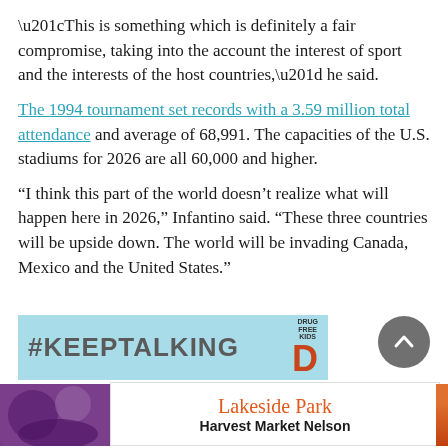“This is something which is definitely a fair compromise, taking into the account the interest of sport and the interests of the host countries,” he said.
The 1994 tournament set records with a 3.59 million total attendance and average of 68,991. The capacities of the U.S. stadiums for 2026 are all 60,000 and higher.
“I think this part of the world doesn’t realize what will happen here in 2026,” Infantino said. “These three countries will be upside down. The world will be invading Canada, Mexico and the United States.”
[Figure (photo): #KEEPTALKING Drug Free Kids advertisement banner, light blue background with hashtag text and a D logo, alongside a Lakeside Park Harvest Market Nelson advertisement]